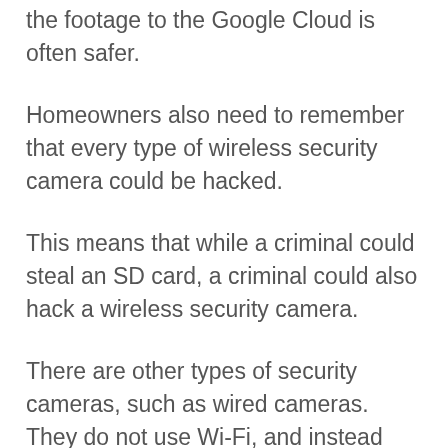the footage to the Google Cloud is often safer.
Homeowners also need to remember that every type of wireless security camera could be hacked.
This means that while a criminal could steal an SD card, a criminal could also hack a wireless security camera.
There are other types of security cameras, such as wired cameras. They do not use Wi-Fi, and instead are traditional types of security cameras.